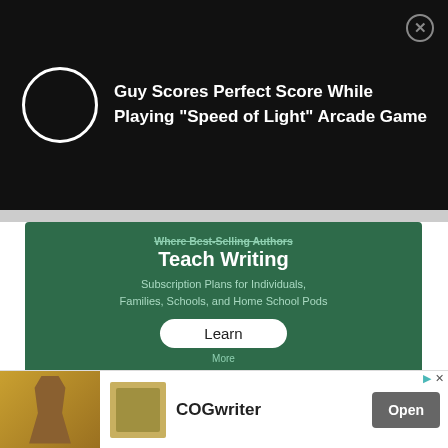[Figure (screenshot): Black notification bar with white circle/spinner icon and text: Guy Scores Perfect Score While Playing "Speed of Light" Arcade Game, with X close button]
[Figure (screenshot): Green chalkboard advertisement: 'Where Best-Selling Authors Teach Writing. Subscription Plans for Individuals, Families, Schools, and Home School Pods. Learn More' button]
[Figure (screenshot): Green chalkboard advertisement: 'Exclusive literary classes for teen writers!' FARO CLASSROOM logo with silhouette cityscape, X close button]
[Figure (screenshot): Bottom app install banner: image of saint/figure, book icon, COGwriter brand name, Open button, with ad attribution icons]